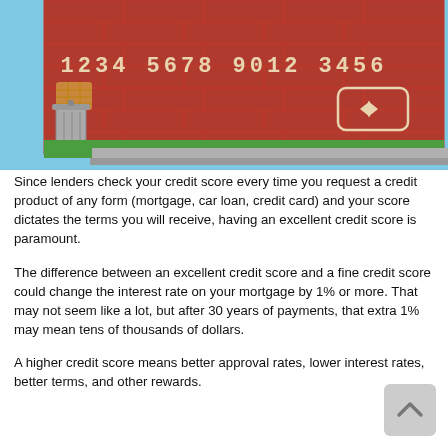[Figure (illustration): Illustration of a credit card (brick wall style) with card number '1234 5678 9012 3456' on a red brick wall background, green grass at bottom, blue sky at top, a trash can on the left side, and a card chip/arrow icon on the right.]
Since lenders check your credit score every time you request a credit product of any form (mortgage, car loan, credit card) and your score dictates the terms you will receive, having an excellent credit score is paramount.
The difference between an excellent credit score and a fine credit score could change the interest rate on your mortgage by 1% or more. That may not seem like a lot, but after 30 years of payments, that extra 1% may mean tens of thousands of dollars.
A higher credit score means better approval rates, lower interest rates, better terms, and other rewards.